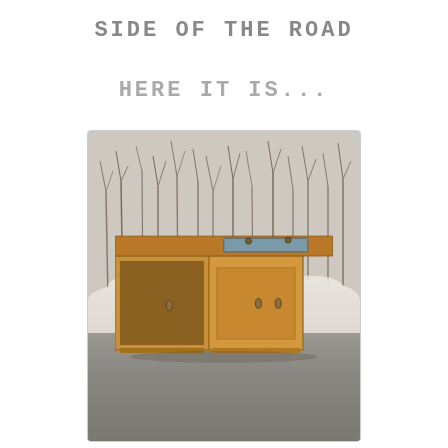SIDE OF THE ROAD
HERE IT IS...
[Figure (photo): A wooden cabinet/TV stand lying on its side at the side of a road in winter, surrounded by snow and bare brush in the background. The furniture appears to be discarded, placed on the roadside pavement with snow piled behind it.]